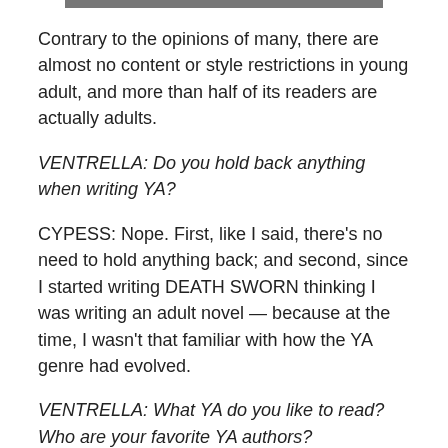[Figure (photo): Partial image at top of page, cropped]
Contrary to the opinions of many, there are almost no content or style restrictions in young adult, and more than half of its readers are actually adults.
VENTRELLA: Do you hold back anything when writing YA?
CYPESS: Nope. First, like I said, there's no need to hold anything back; and second, since I started writing DEATH SWORN thinking I was writing an adult novel — because at the time, I wasn't that familiar with how the YA genre had evolved.
VENTRELLA: What YA do you like to read? Who are your favorite YA authors?
CYPESS: I mostly read speculative fiction YA, since that's